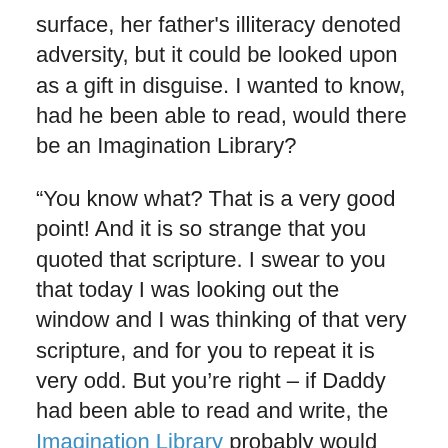surface, her father's illiteracy denoted adversity, but it could be looked upon as a gift in disguise. I wanted to know, had he been able to read, would there be an Imagination Library?
“You know what? That is a very good point! And it is so strange that you quoted that scripture. I swear to you that today I was looking out the window and I was thinking of that very scripture, and for you to repeat it is very odd. But you’re right – if Daddy had been able to read and write, the Imagination Library probably would not have happened.”
Watching her father struggle deeply affected Dolly. She remembers her mother having to sign her school papers because her father was too embarrassed to try and scribble his name on them. Creating a program to support